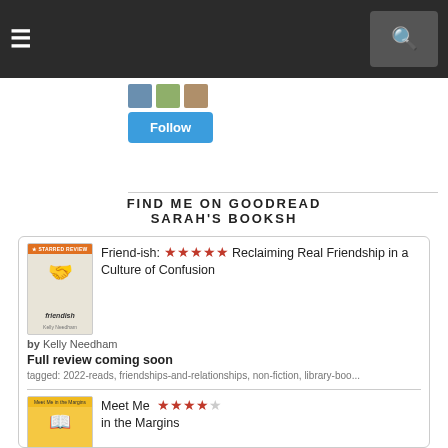≡  [search icon]
[Figure (screenshot): Three small book cover thumbnails followed by a blue Follow button]
FIND ME ON GOODREAD
SARAH'S BOOKSH
[Figure (screenshot): Goodreads widget showing Friend-ish book entry with 5 red stars, title, author Kelly Needham, Full review coming soon, and tags; followed by Meet Me in the Margins with 4 red stars]
Friend-ish: ★★★★★ Reclaiming Real Friendship in a Culture of Confusion
by Kelly Needham
Full review coming soon
tagged: 2022-reads, friendships-and-relationships, non-fiction, library-boo...
Meet Me  ★★★★☆ in the Margins